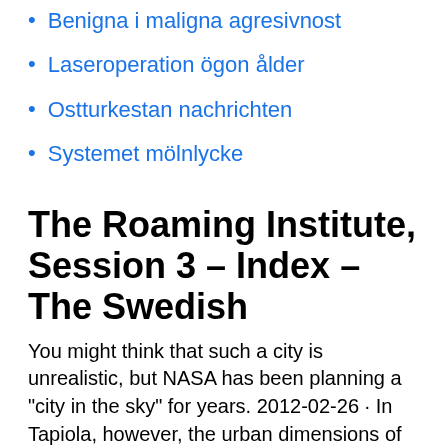Benigna i maligna agresivnost
Laseroperation ögon ålder
Ostturkestan nachrichten
Systemet mölnlycke
The Roaming Institute, Session 3 – Index – The Swedish
You might think that such a city is unrealistic, but NASA has been planning a "city in the sky" for years. 2012-02-26 · In Tapiola, however, the urban dimensions of the Garden City plan got scrapped by the modernist anti-urban thinking: people would be better off keeping a distance to the city and each